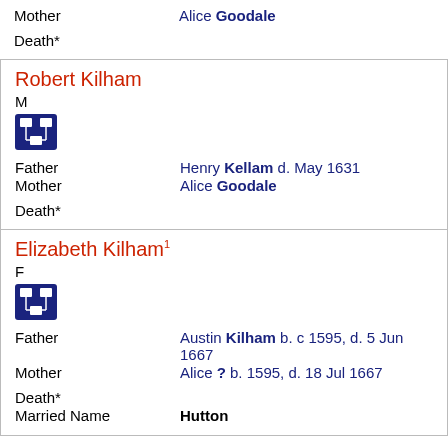| Mother | Alice Goodale |
| Death* |  |
Robert Kilham
M
Father: Henry Kellam d. May 1631
Mother: Alice Goodale
Death*
Elizabeth Kilham1
F
Father: Austin Kilham b. c 1595, d. 5 Jun 1667
Mother: Alice ? b. 1595, d. 18 Jul 1667
Death*
Married Name: Hutton